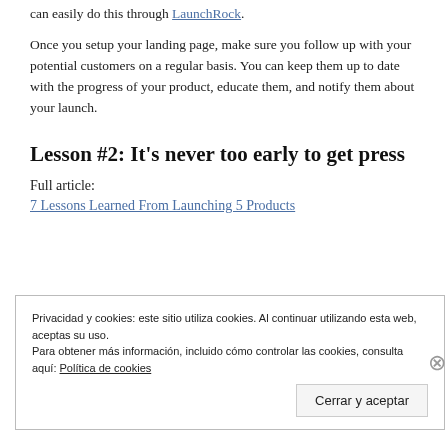can easily do this through LaunchRock.
Once you setup your landing page, make sure you follow up with your potential customers on a regular basis. You can keep them up to date with the progress of your product, educate them, and notify them about your launch.
Lesson #2: It’s never too early to get press
Full article:
7 Lessons Learned From Launching 5 Products
Privacidad y cookies: este sitio utiliza cookies. Al continuar utilizando esta web, aceptas su uso.
Para obtener más información, incluido cómo controlar las cookies, consulta aquí: Política de cookies
Cerrar y aceptar